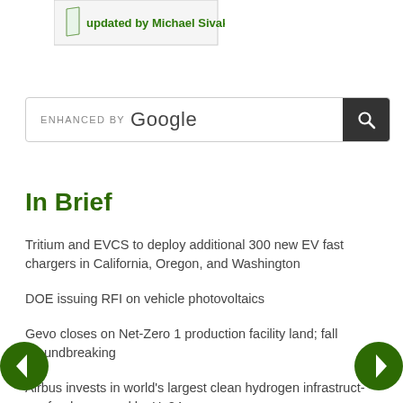[Figure (illustration): Book cover or image with text 'updated by Michael Sivak' in green]
[Figure (screenshot): Google search bar with 'ENHANCED BY Google' text and a dark search button with magnifying glass icon]
In Brief
Tritium and EVCS to deploy additional 300 new EV fast chargers in California, Oregon, and Washington
DOE issuing RFI on vehicle photovoltaics
Gevo closes on Net-Zero 1 production facility land; fall groundbreaking
Airbus invests in world's largest clean hydrogen infrastructure fund managed by Hy24
Albemarle planning major lithium processing plant in US